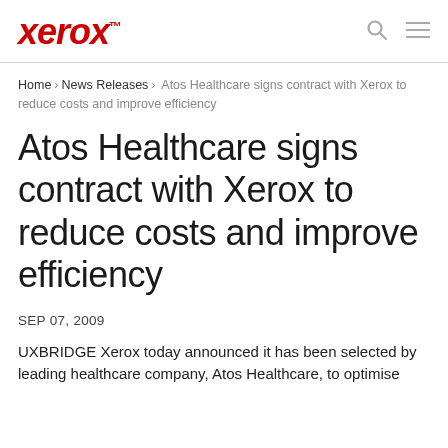xerox™
Home > News Releases > Atos Healthcare signs contract with Xerox to reduce costs and improve efficiency
Atos Healthcare signs contract with Xerox to reduce costs and improve efficiency
SEP 07, 2009
UXBRIDGE Xerox today announced it has been selected by leading healthcare company, Atos Healthcare, to optimise